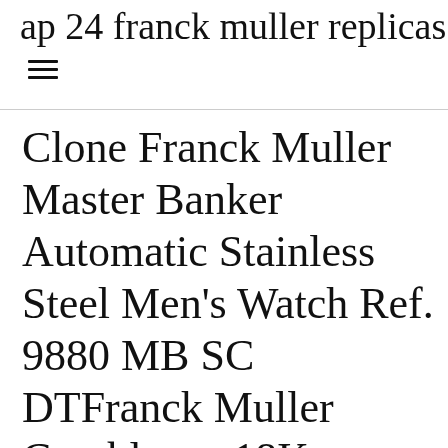ap 24 franck muller replicas
Clone Franck Muller Master Banker Automatic Stainless Steel Men’s Watch Ref. 9880 MB SC DTFranck Muller Casablanca 18K Roségold Automatik Herrenuhr Ref. 888 SC DT B&P With